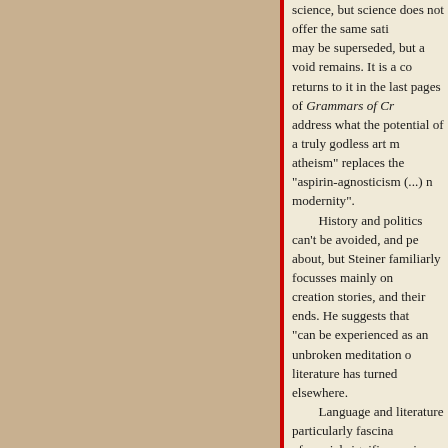science, but science does not offer the same sati... may be superseded, but a void remains. It is a co... returns to it in the last pages of Grammars of Cr... address what the potential of a truly godless art m... atheism" replaces the "aspirin-agnosticism (...) n... modernity".
History and politics can't be avoided, and pe... about, but Steiner familiarly focusses mainly on... creation stories, and their ends. He suggests that... "can be experienced as an unbroken meditation o... literature has turned elsewhere.
Language and literature particularly fascina... of special significance in considering beginnings... of sorts, in music and painting and the like: colo... associations, but these "remain of great generali... "Language is its own past." Indeed:
Language is immeasurably saturated. Words, gramm... rhetorical conventions are saturated, nearly to the le... usage, by precedent, by cultural-social connotation.
It is one of the remarkable, inescapable aspe... bound by its own language. Steiner looks to exp... abstract -- automatic writing, Dada -- but sees o... The greatness and uniqueness of literature is in i... language (and, necessarily, usage), and that it...